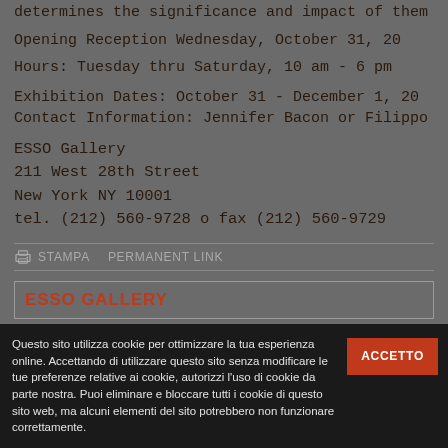determines the significance and impact of them
Opening Reception Wednesday, October 31, 200
Hours: Tuesday thru Saturday, 10 am - 6 pm
Exhibition Dates: October 31 - December 1, 200
Contact Information: Jennifer Bacon or Filippo
ESSO Gallery
211 West 28th Street
New York NY 10001
tel. (212) 560-9728 o fax (212) 560-9729
STAMPA   PERMANENT LINK
ESSO GALLERY
Questo sito utilizza cookie per ottimizzare la tua esperienza online. Accettando di utilizzare questo sito senza modificare le tue preferenze relative ai cookie, autorizzi l'uso di cookie da parte nostra. Puoi eliminare e bloccare tutti i cookie di questo sito web, ma alcuni elementi del sito potrebbero non funzionare correttamente.